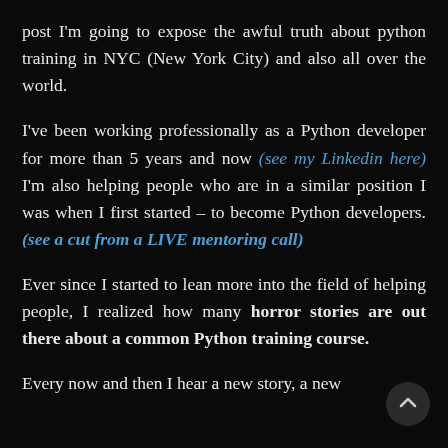post I'm going to expose the awful truth about python training in NYC (New York City) and also all over the world.
I've been working professionally as a Python developer for more than 5 years and now (see my Linkedin here) I'm also helping people who are in a similar position I was when I first started – to become Python developers. (see a cut from a LIVE mentoring call)
Ever since I started to lean more into the field of helping people, I realized how many horror stories are out there about a common Python training course.
Every now and then I hear a new story, a new shocking experience from training courses along with...